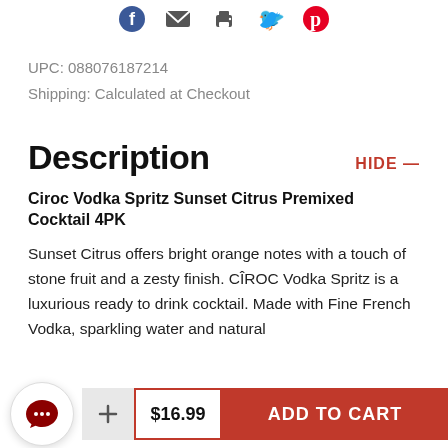[Figure (other): Social sharing icons bar: Facebook, Email, Print, Twitter, Pinterest]
UPC:  088076187214
Shipping:  Calculated at Checkout
Description
HIDE —
Ciroc Vodka Spritz Sunset Citrus Premixed Cocktail 4PK
Sunset Citrus offers bright orange notes with a touch of stone fruit and a zesty finish. CÎROC Vodka Spritz is a luxurious ready to drink cocktail. Made with Fine French Vodka, sparkling water and natural
[Figure (other): Chat button icon (speech bubble)]
+ $16.99 ADD TO CART